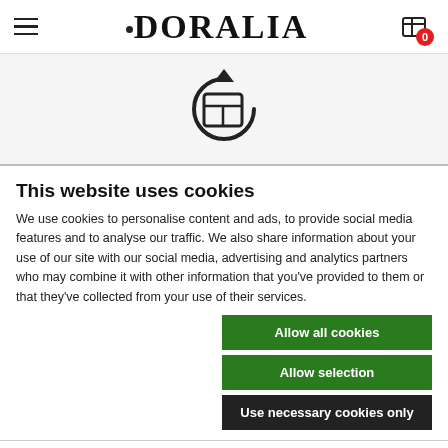DORALIA — website navigation header with hamburger menu and cart icon
[Figure (illustration): Circular refresh/reload icon with a table/grid symbol inside, indicating a table reload action]
This website uses cookies
We use cookies to personalise content and ads, to provide social media features and to analyse our traffic. We also share information about your use of our site with our social media, advertising and analytics partners who may combine it with other information that you've provided to them or that they've collected from your use of their services.
Allow all cookies
Allow selection
Use necessary cookies only
Necessary  Preferences  Statistics  Marketing  Show details